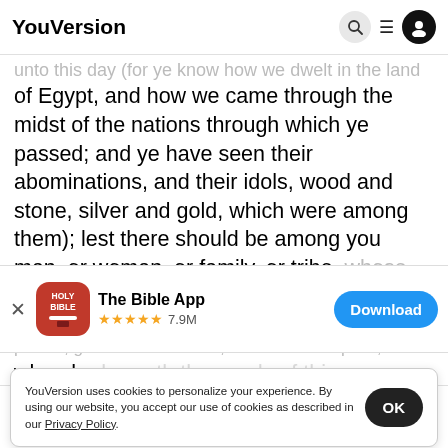YouVersion
...unto this day (for ye know how we dwelt in the land of Egypt, and how we came through the midst of the nations through which ye passed; and ye have seen their abominations, and their idols, wood and stone, silver and gold, which were among them); lest there should be among you man, or woman, or family, or tribe, whose heart turneth away this day from
[Figure (screenshot): App download banner for 'The Bible App' with Holy Bible icon, 4.5 star rating, 7.9M reviews, and a blue Download button]
...poison, gall and wormwood, and it come to pass, when he heareth the words of this curse, that he bless himself in his heart, saying, I shall have peace, though I walk in the stubbornness of my heart, to destroy the moist with the dry: Jehovah will not pardon
YouVersion uses cookies to personalize your experience. By using our website, you accept our use of cookies as described in our Privacy Policy.
Home  Bible  Plans  Videos